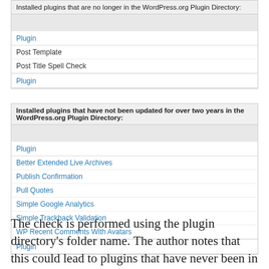| Plugin |
| --- |
| Post Template |
| Post Title Spell Check |
| Plugin |
| Plugin |
| --- |
| Better Extended Live Archives |
| Publish Confirmation |
| Pull Quotes |
| Simple Google Analytics |
| Simple Trackback Validation |
| WP Recent Comments With Avatars |
| Plugin |
The check is performed using the plugin directory's folder name. The author notes that this could lead to plugins that have never been in the plugin directory to be flagged if they on the name as an existing plugin.